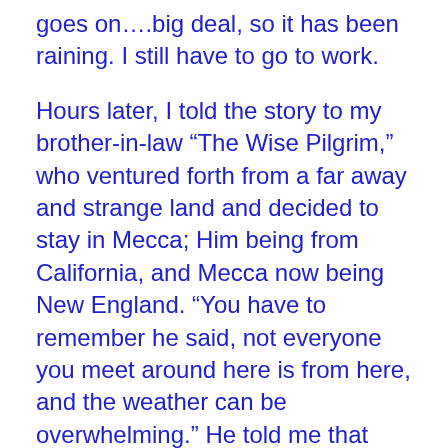goes on….big deal, so it has been raining. I still have to go to work.
Hours later, I told the story to my brother-in-law “The Wise Pilgrim,” who ventured forth from a far away and strange land and decided to stay in Mecca; Him being from California, and Mecca now being New England. “You have to remember he said, not everyone you meet around here is from here, and the weather can be overwhelming.” He told me that when he first came here, he couldn’t understand why everyone talked about the weather like it was so mysterious and eventful. He told me where they lived in California, weather prediction went like this; look at Hawaii, three days later, that’s our weather.
Another few years back, a new name popped into an old and for many of us civilians, an unrealized weather pattern